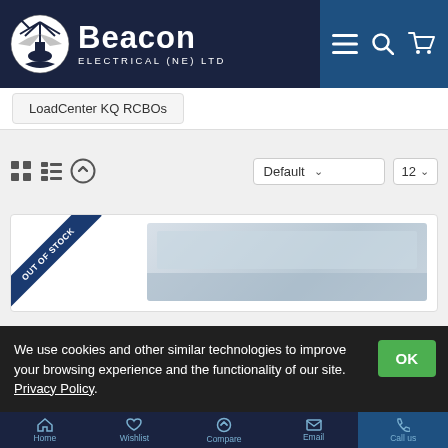[Figure (logo): Beacon Electrical (NE) Ltd logo with lighthouse icon and white text on dark navy background]
LoadCenter KQ RCBOs
[Figure (screenshot): Toolbar with grid/list view icons, compare icon, Default sort dropdown, and 12 per page dropdown]
[Figure (photo): Product card showing an electrical consumer unit/loadcenter with an Out of Stock ribbon banner]
We use cookies and other similar technologies to improve your browsing experience and the functionality of our site. Privacy Policy.
Home   Wishlist   Compare   Email   Call us